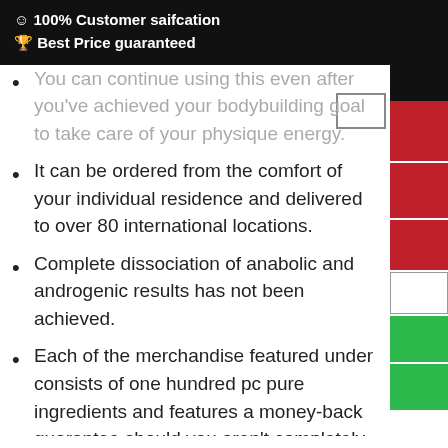☺ 100% Customer saifcation
🏆 Best Price guaranteed
You can continue using this even after you've achieved your bodybuilding goal to take care of your physique energy.
It can be ordered from the comfort of your individual residence and delivered to over 80 international locations.
Complete dissociation of anabolic and androgenic results has not been achieved.
Each of the merchandise featured under consists of one hundred pc pure ingredients and features a money-back guarantee should you aren't completely thrilled with your results. [newline]As users take Testo-Max, the commonest